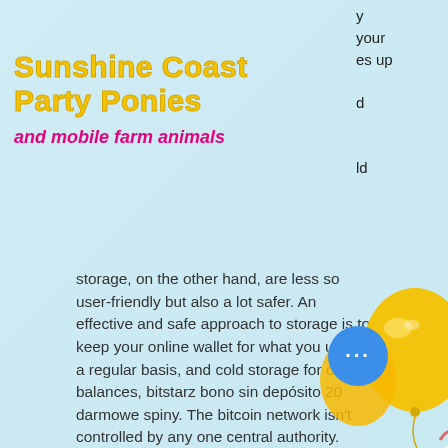Sunshine Coast Party Ponies
and mobile farm animals
ld storage, on the other hand, are less so user-friendly but also a lot safer. An effective and safe approach to storage is to keep your online wallet for what you use on a regular basis, and cold storage for other balances, bitstarz bono sin depósito 20 darmowe spiny. The bitcoin network isn't controlled by any one central authority. Every machine that mines bitcoins and processes transactions makes up a part of the network, bitstarz мобильный. Those who play at KingBit Casino will be delighted by the fast withdrawal times. Bitcoin cashouts take between 15 minutes and one hour to process, bitstarz darmowe spiny code.